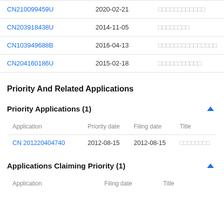| Application | Date | Title |
| --- | --- | --- |
| CN210099459U | 2020-02-21 | □□□□□□□□□□□□ |
| CN203918438U | 2014-11-05 | □□□□□□□□ |
| CN103949688B | 2016-04-13 | □□□□□□□□□□□□□□□ |
| CN204160186U | 2015-02-18 | □□□□□□□□□□□ |
Priority And Related Applications
Priority Applications (1)
| Application | Priority date | Filing date | Title |
| --- | --- | --- | --- |
| CN 201220404740 | 2012-08-15 | 2012-08-15 | □□□□□□□□ |
Applications Claiming Priority (1)
| Application | Filing date | Title |
| --- | --- | --- |